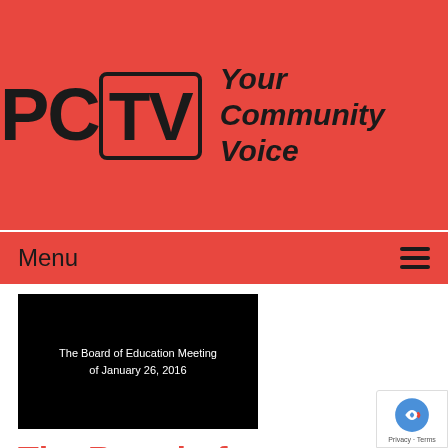[Figure (logo): PCTV logo with text 'Your Community Voice' on red background]
Menu ≡
[Figure (screenshot): Black thumbnail image with white text: The Board of Education Meeting of January 26, 2016]
The Board of Education Meeting of 01-26-16
Airdate: 01/26/2016
Watched: 26 ti...